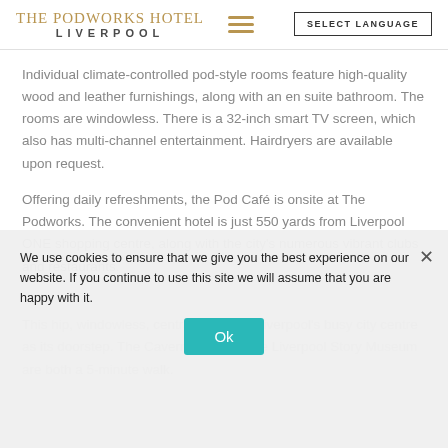THE PODWORKS HOTEL LIVERPOOL
Individual climate-controlled pod-style rooms feature high-quality wood and leather furnishings, along with an en suite bathroom. The rooms are windowless. There is a 32-inch smart TV screen, which also has multi-channel entertainment. Hairdryers are available upon request.
Offering daily refreshments, the Pod Café is onsite at The Podworks. The convenient hotel is just 550 yards from Liverpool ONE shopping centre, along with the city's numerous vibrant clubs and restaurants.
This hip, windowless, central hotel has Liverpool's busy city centre as its doorstep. The Cavern Club and the Liverpool Story Museum are both a 5-minute walk.
We use cookies to ensure that we give you the best experience on our website. If you continue to use this site we will assume that you are happy with it.